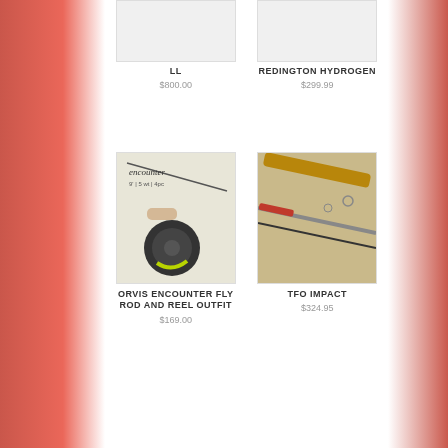[Figure (photo): Product image placeholder for LL fly rod]
LL
$800.00
[Figure (photo): Product image placeholder for Redington Hydrogen fly rod]
REDINGTON HYDROGEN
$299.99
[Figure (photo): Orvis Encounter fly rod and reel outfit product image showing cork grip rod with black reel and yellow-green fly line]
ORVIS ENCOUNTER FLY ROD AND REEL OUTFIT
$169.00
[Figure (photo): TFO Impact fly rod product image showing multiple rod sections with cork grip and red accent]
TFO IMPACT
$324.95